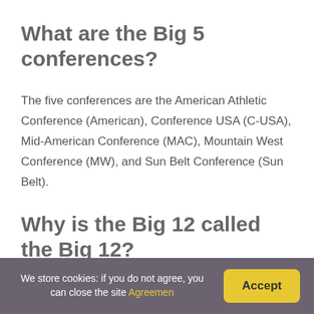What are the Big 5 conferences?
The five conferences are the American Athletic Conference (American), Conference USA (C-USA), Mid-American Conference (MAC), Mountain West Conference (MW), and Sun Belt Conference (Sun Belt).
Why is the Big 12 called the Big 12?
Formation. On February 25, 1994, it was announced that a new conference would be formed from the
We store cookies: if you do not agree, you can close the site Agreement